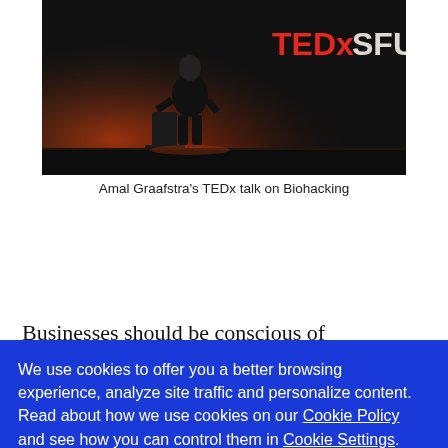[Figure (photo): A person in black clothing speaking on stage at a TEDxSFU event, with red and orange lighting and the TEDxSFU logo visible in the background.]
Amal Graafstra's TEDx talk on Biohacking
Businesses should be conscious of biohacking and its possibilities. People want convenience, and some are willing to modify their bodies to get it. While some
We use cookies to offer you a better browsing experience, analyze site traffic and personalize content. Read about how we use cookies on our Cookie Policy and see how you can control them in Cookie Settings.